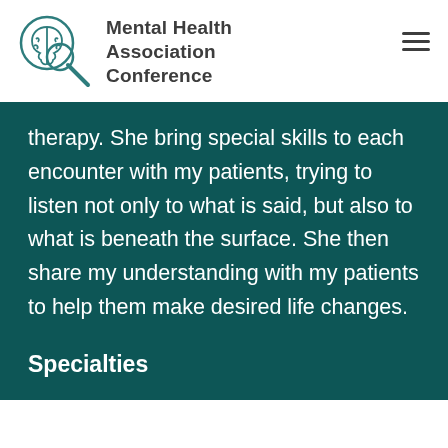Mental Health Association Conference
therapy. She bring special skills to each encounter with my patients, trying to listen not only to what is said, but also to what is beneath the surface. She then share my understanding with my patients to help them make desired life changes.
Specialties